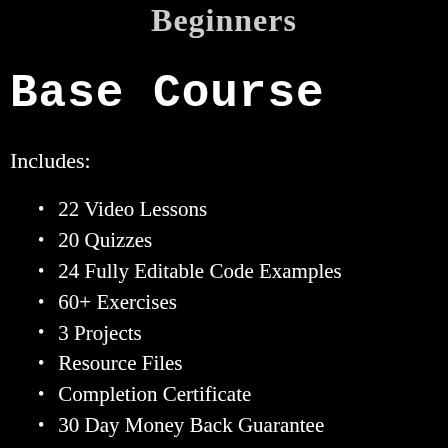Beginners
Base Course
Includes:
22 Video Lessons
20 Quizzes
24 Fully Editable Code Examples
60+ Exercises
3 Projects
Resource Files
Completion Certificate
30 Day Money Back Guarantee